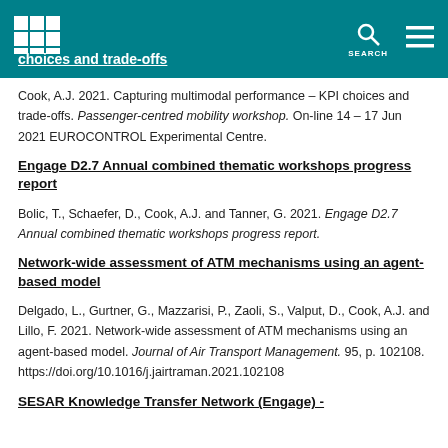choices and trade-offs
Cook, A.J. 2021. Capturing multimodal performance – KPI choices and trade-offs. Passenger-centred mobility workshop. On-line 14 – 17 Jun 2021 EUROCONTROL Experimental Centre.
Engage D2.7 Annual combined thematic workshops progress report
Bolic, T., Schaefer, D., Cook, A.J. and Tanner, G. 2021. Engage D2.7 Annual combined thematic workshops progress report.
Network-wide assessment of ATM mechanisms using an agent-based model
Delgado, L., Gurtner, G., Mazzarisi, P., Zaoli, S., Valput, D., Cook, A.J. and Lillo, F. 2021. Network-wide assessment of ATM mechanisms using an agent-based model. Journal of Air Transport Management. 95, p. 102108. https://doi.org/10.1016/j.jairtraman.2021.102108
SESAR Knowledge Transfer Network (Engage) -